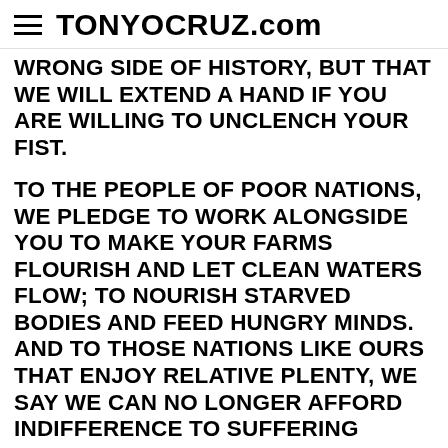TONYOCRUZ.com
WRONG SIDE OF HISTORY, BUT THAT WE WILL EXTEND A HAND IF YOU ARE WILLING TO UNCLENCH YOUR FIST.
TO THE PEOPLE OF POOR NATIONS, WE PLEDGE TO WORK ALONGSIDE YOU TO MAKE YOUR FARMS FLOURISH AND LET CLEAN WATERS FLOW; TO NOURISH STARVED BODIES AND FEED HUNGRY MINDS. AND TO THOSE NATIONS LIKE OURS THAT ENJOY RELATIVE PLENTY, WE SAY WE CAN NO LONGER AFFORD INDIFFERENCE TO SUFFERING